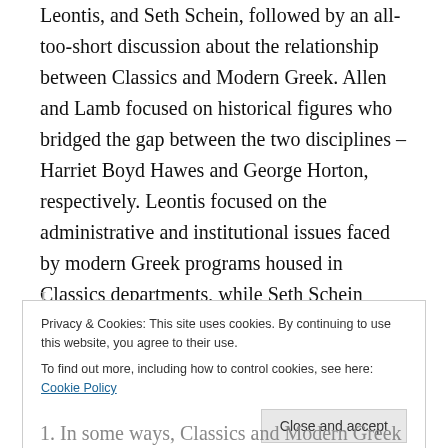Leontis, and Seth Schein, followed by an all-too-short discussion about the relationship between Classics and Modern Greek. Allen and Lamb focused on historical figures who bridged the gap between the two disciplines – Harriet Boyd Hawes and George Horton, respectively. Leontis focused on the administrative and institutional issues faced by modern Greek programs housed in Classics departments, while Seth Schein reflected on his personal and professional relationship with Ioannis Kakridis.
Privacy & Cookies: This site uses cookies. By continuing to use this website, you agree to their use. To find out more, including how to control cookies, see here: Cookie Policy
1. In some ways, Classics and Modern Greek studies are